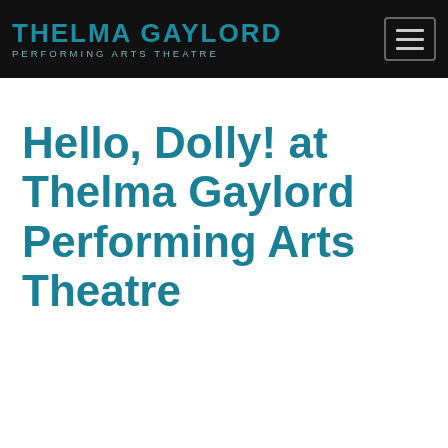THELMA GAYLORD PERFORMING ARTS THEATRE
Hello, Dolly! at Thelma Gaylord Performing Arts Theatre